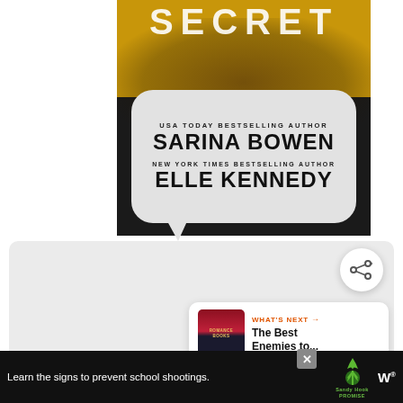[Figure (illustration): Book cover for a novel by Sarina Bowen and Elle Kennedy, showing a dark background with an orange/amber top, partial text 'SECRET' at top, and a speech-bubble shape containing author bylines: 'USA TODAY BESTSELLING AUTHOR SARINA BOWEN' and 'NEW YORK TIMES BESTSELLING AUTHOR ELLE KENNEDY']
[Figure (screenshot): UI panel showing a share button (circle with share icon) and a 'WHAT'S NEXT' recommendation card showing a book thumbnail and text 'The Best Enemies to...']
[Figure (infographic): Advertisement banner with dark background reading 'Learn the signs to prevent school shootings.' with Sandy Hook Promise logo and tree graphic]